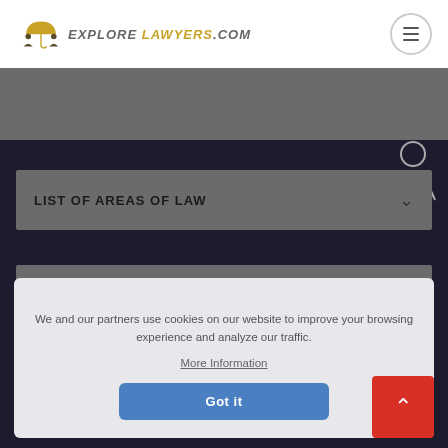EXPLORE LAWYERS.COM
[Figure (illustration): Partial gray banner with person illustration in top-right corner]
LIST OF AREAS OF LAW
THE BEST LAWYERS NEAR YOU
We and our partners use cookies on our website to improve your browsing experience and analyze our traffic.
More Information
Got it